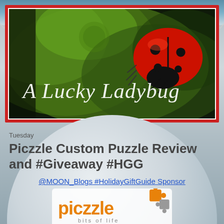[Figure (illustration): A Lucky Ladybug blog banner: dark background with green leaf textures and a red ladybug, white cursive text reading 'A Lucky Ladybug', framed by a red and white border]
Tuesday
Piczzle Custom Puzzle Review and #Giveaway #HGG
@MOON_Blogs #HolidayGiftGuide Sponsor
[Figure (logo): Piczzle logo: orange puzzle-piece styled text 'piczzle' with orange and grey puzzle piece icons, subtitle 'bits of life']